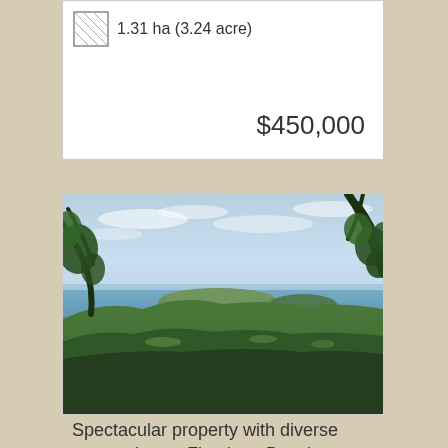1.31 ha (3.24 acre)
$450,000
[Figure (photo): Aerial panoramic view of Flamingo Beach area in Costa Rica showing lush green tropical forest and hills in the foreground, a coastal peninsula and calm blue ocean bay in the middle ground, and a hazy blue sky above. Tree branches visible at upper right corner.]
Spectacular property with diverse ocean views - Flamingo Beach